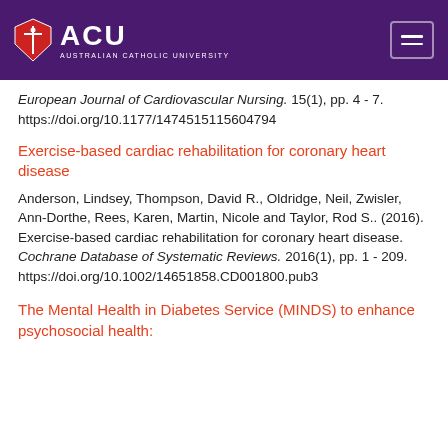[Figure (logo): Australian Catholic University (ACU) logo with shield emblem and hamburger menu button on dark purple header background]
European Journal of Cardiovascular Nursing. 15(1), pp. 4 - 7. https://doi.org/10.1177/1474515115604794
Exercise-based cardiac rehabilitation for coronary heart disease
Anderson, Lindsey, Thompson, David R., Oldridge, Neil, Zwisler, Ann-Dorthe, Rees, Karen, Martin, Nicole and Taylor, Rod S.. (2016). Exercise-based cardiac rehabilitation for coronary heart disease. Cochrane Database of Systematic Reviews. 2016(1), pp. 1 - 209. https://doi.org/10.1002/14651858.CD001800.pub3
The Mental Health in Diabetes Service (MINDS) to enhance psychosocial health: